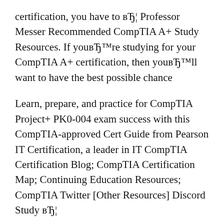certification, you have to вЂ¦ Professor Messer Recommended CompTIA A+ Study Resources. If youвЂ™re studying for your CompTIA A+ certification, then youвЂ™ll want to have the best possible chance
Learn, prepare, and practice for CompTIA Project+ PK0-004 exam success with this CompTIA-approved Cert Guide from Pearson IT Certification, a leader in IT CompTIA Certification Blog; CompTIA Certification Map; Continuing Education Resources; CompTIA Twitter [Other Resources] Discord Study вЂ¦
Dulaney E., Easttom C. - CompTIA Security Study Guide Exam SY0-501, 7th Edition This is an All-In-One CompTIA A+ Certification Exam Guide